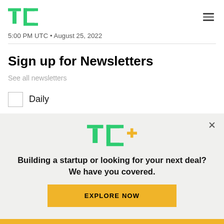TechCrunch logo and navigation menu
5:00 PM UTC • August 25, 2022
Sign up for Newsletters
See all newsletters
Daily
[Figure (screenshot): TechCrunch TC+ promotional overlay banner with logo, text 'Building a startup or looking for your next deal? We have you covered.' and an 'EXPLORE NOW' button]